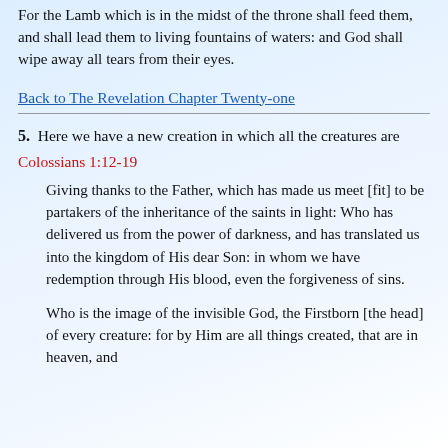For the Lamb which is in the midst of the throne shall feed them, and shall lead them to living fountains of waters: and God shall wipe away all tears from their eyes.
Back to The Revelation Chapter Twenty-one
5.  Here we have a new creation in which all the creatures are
Colossians 1:12-19
Giving thanks to the Father, which has made us meet [fit] to be partakers of the inheritance of the saints in light: Who has delivered us from the power of darkness, and has translated us into the kingdom of His dear Son: in whom we have redemption through His blood, even the forgiveness of sins.
Who is the image of the invisible God, the Firstborn [the head] of every creature: for by Him are all things created, that are in heaven, and